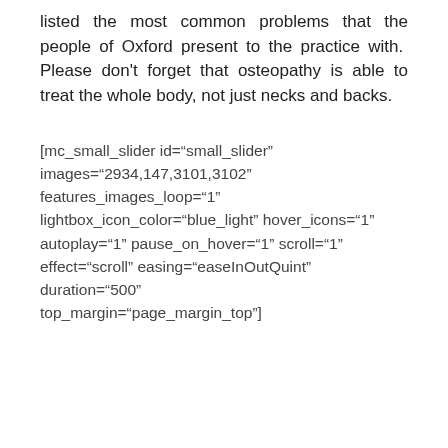listed the most common problems that the people of Oxford present to the practice with.  Please don't forget that osteopathy is able to treat the whole body, not just necks and backs.
[mc_small_slider id="small_slider" images="2934,147,3101,3102" features_images_loop="1" lightbox_icon_color="blue_light" hover_icons="1" autoplay="1" pause_on_hover="1" scroll="1" effect="scroll" easing="easeInOutQuint" duration="500" top_margin="page_margin_top"]